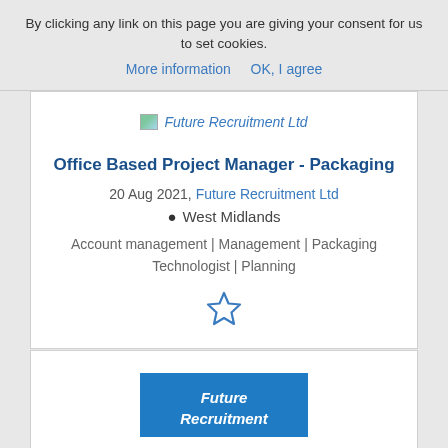By clicking any link on this page you are giving your consent for us to set cookies.
More information   OK, I agree
[Figure (logo): Future Recruitment Ltd logo placeholder image]
Office Based Project Manager - Packaging
20 Aug 2021, Future Recruitment Ltd
West Midlands
Account management | Management | Packaging Technologist | Planning
[Figure (illustration): Star/bookmark icon]
[Figure (logo): Future Recruitment blue logo box with italic bold text 'Future Recruitment']